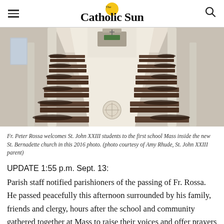The Catholic Sun
[Figure (photo): Aerial interior view of a large Catholic church filled with students sitting in wooden pews, with a central aisle leading to the altar and large white columns on each side.]
Fr. Peter Rossa welcomes St. John XXIII students to the first school Mass inside the new St. Bernadette church in this 2016 photo. (photo courtesy of Amy Rhude, St. John XXIII parent)
UPDATE 1:55 p.m. Sept. 13:
Parish staff notified parishioners of the passing of Fr. Rossa. He passed peacefully this afternoon surrounded by his family, friends and clergy, hours after the school and community gathered together at Mass to raise their voices and offer prayers to the Lord and the Blessed Mother Mary.